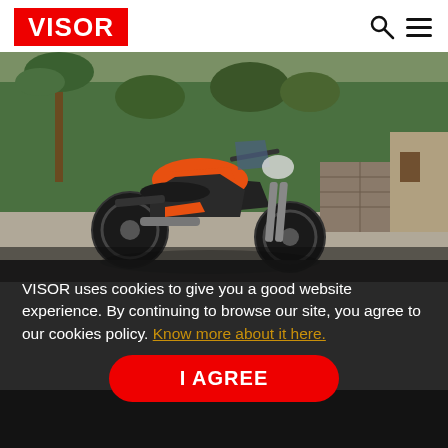VISOR
[Figure (photo): Orange and black KTM motorcycle parked on a road with trees and a stone wall in the background]
VISOR uses cookies to give you a good website experience. By continuing to browse our site, you agree to our cookies policy. Know more about it here.
I AGREE